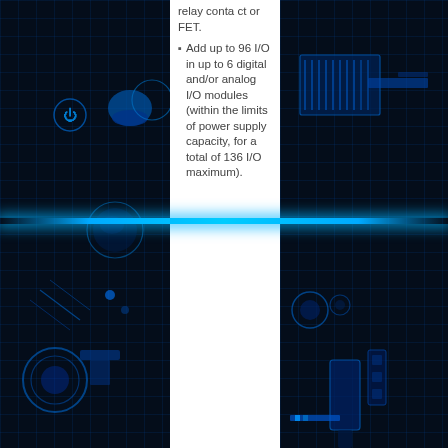[Figure (engineering-diagram): Dark blue technical/engineering background with glowing blue grid, circuit-like diagrams, and horizontal glowing light beam. Left side shows robotic/mechanical components including circular elements and technical schematics. Right side shows mechanical assembly components including what appears to be industrial parts and connectors.]
relay contact or FET.
Add up to 96 I/O in up to 6 digital and/or analog I/O modules (within the limits of power supply capacity, for a total of 136 I/O maximum).